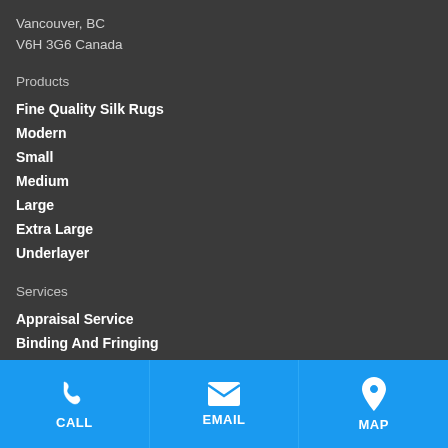Vancouver, BC
V6H 3G6 Canada
Products
Fine Quality Silk Rugs
Modern
Small
Medium
Large
Extra Large
Underlayer
Services
Appraisal Service
Binding And Fringing
Carpet Protection
CALL  EMAIL  MAP